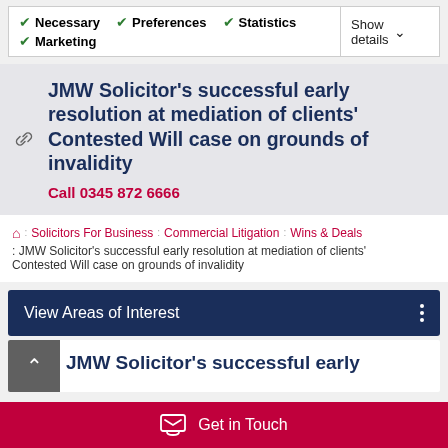Necessary | Preferences | Statistics | Marketing | Show details
JMW Solicitor’s successful early resolution at mediation of clients’ Contested Will case on grounds of invalidity
Call 0345 872 6666
Solicitors For Business :: Commercial Litigation :: Wins & Deals :: JMW Solicitor’s successful early resolution at mediation of clients’ Contested Will case on grounds of invalidity
View Areas of Interest
JMW Solicitor’s successful early
Get in Touch